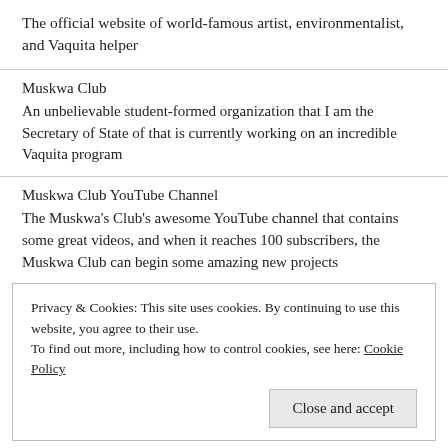The official website of world-famous artist, environmentalist, and Vaquita helper
Muskwa Club
An unbelievable student-formed organization that I am the Secretary of State of that is currently working on an incredible Vaquita program
Muskwa Club YouTube Channel
The Muskwa’s Club’s awesome YouTube channel that contains some great videos, and when it reaches 100 subscribers, the Muskwa Club can begin some amazing new projects
Privacy & Cookies: This site uses cookies. By continuing to use this website, you agree to their use.
To find out more, including how to control cookies, see here: Cookie Policy
Close and accept
An incredible aquarium that hosted my World Oceans Day